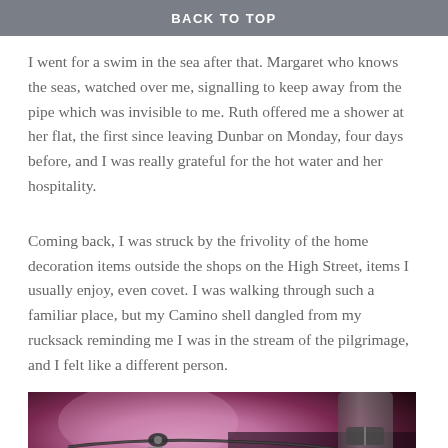BACK TO TOP
I went for a swim in the sea after that. Margaret who knows the seas, watched over me, signalling to keep away from the pipe which was invisible to me. Ruth offered me a shower at her flat, the first since leaving Dunbar on Monday, four days before, and I was really grateful for the hot water and her hospitality.
Coming back, I was struck by the frivolity of the home decoration items outside the shops on the High Street, items I usually enjoy, even covet. I was walking through such a familiar place, but my Camino shell dangled from my rucksack reminding me I was in the stream of the pilgrimage, and I felt like a different person.
[Figure (photo): Close-up photo of a purple/magenta rucksack with zipper and dark straps visible]